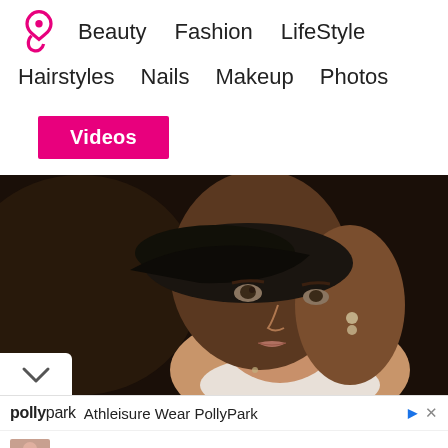Beauty  Fashion  LifeStyle
Hairstyles  Nails  Makeup  Photos
Videos
[Figure (photo): Close-up portrait of a young woman wearing a dark hat and white collar, with light brown hair and dangling earrings, looking off to the side with a serious expression.]
Athleisure Wear PollyPark
Women's Onesie Yoga Fit Dance Bodysuit, Haze Orchid / S
$50
OPEN